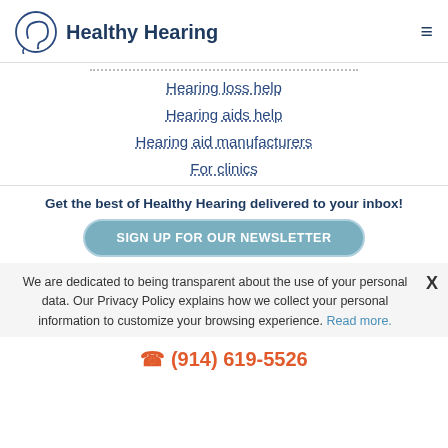Healthy Hearing
Hearing loss help
Hearing aids help
Hearing aid manufacturers
For clinics
Get the best of Healthy Hearing delivered to your inbox!
SIGN UP FOR OUR NEWSLETTER
We are dedicated to being transparent about the use of your personal data. Our Privacy Policy explains how we collect your personal information to customize your browsing experience. Read more.
(914) 619-5526